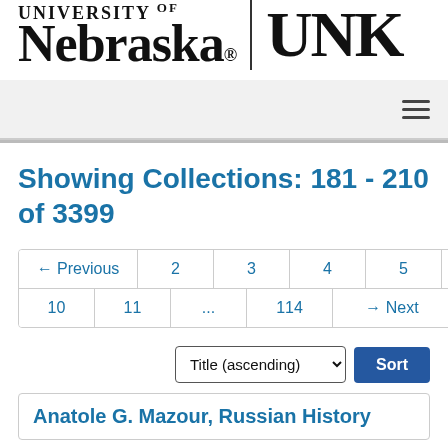[Figure (logo): University of Nebraska and UNK logos with divider]
Navigation bar with hamburger menu
Showing Collections: 181 - 210 of 3399
Pagination: ← Previous 2 3 4 5 6 7 8 9 10 11 ... 114 → Next (page 7 active)
Title (ascending) Sort
Anatole G. Mazour, Russian History